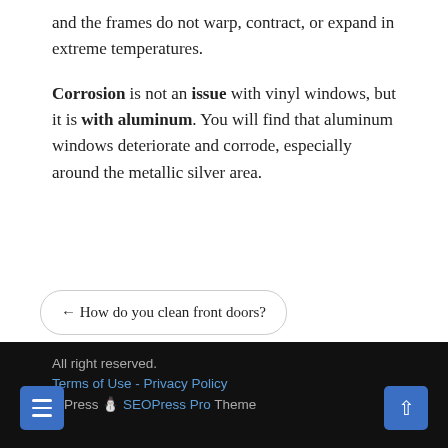and the frames do not warp, contract, or expand in extreme temperatures.
Corrosion is not an issue with vinyl windows, but it is with aluminum. You will find that aluminum windows deteriorate and corrode, especially around the metallic silver area.
← How do you clean front doors?
How to Find the Best Replacement Window Company →
All right reserved. Terms of Use - Privacy Policy WordPress SEOPress Pro Theme